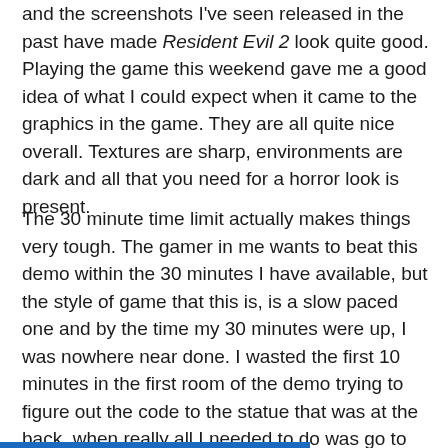and the screenshots I've seen released in the past have made Resident Evil 2 look quite good. Playing the game this weekend gave me a good idea of what I could expect when it came to the graphics in the game. They are all quite nice overall. Textures are sharp, environments are dark and all that you need for a horror look is present.
The 30 minute time limit actually makes things very tough. The gamer in me wants to beat this demo within the 30 minutes I have available, but the style of game that this is, is a slow paced one and by the time my 30 minutes were up, I was nowhere near done. I wasted the first 10 minutes in the first room of the demo trying to figure out the code to the statue that was at the back, when really all I needed to do was go to the garage door on my right which was unlocked. After that I ran around trying not to die to the many zombies in the corridors and trying, but failing to rescue another police officer in time.